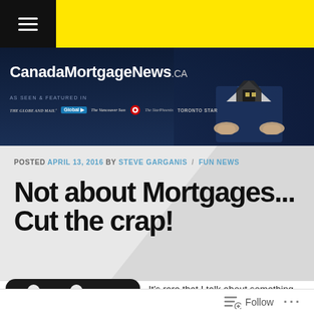CanadaMortgageNews.CA — navigation bar with hamburger menu and yellow brand bar
[Figure (photo): CanadaMortgageNews.CA website header banner with dark blue background, site title, 'AS SEEN & FEATURED IN' media logos (The Globe and Mail, Global, The Vancouver Sun, CBC, The StarPhoenix, TORONTO STAR), and a person in a suit holding a house icon on the right side]
POSTED APRIL 13, 2016 BY STEVE GARGANIS / FUN NEWS
Not about Mortgages... Cut the crap!
[Figure (photo): Dark rounded rectangle with person/avatar icons, partially visible at bottom left]
It's rare that I talk about something that I don't...
Follow ...